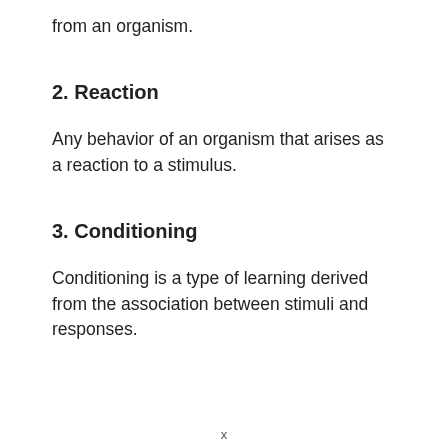from an organism.
2. Reaction
Any behavior of an organism that arises as a reaction to a stimulus.
3. Conditioning
Conditioning is a type of learning derived from the association between stimuli and responses.
x